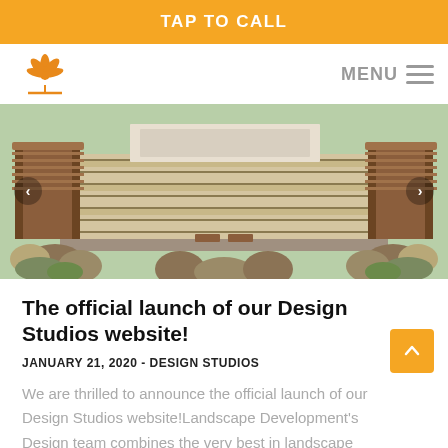TAP TO CALL
[Figure (logo): Leaf/flower logo icon in orange]
MENU
[Figure (illustration): Aerial 3D rendering of a landscaped outdoor courtyard with wooden pergolas, bocce ball courts, desert plants, and walkways]
The official launch of our Design Studios website!
JANUARY 21, 2020  -  DESIGN STUDIOS
We are thrilled to announce the official launch of our Design Studios website!Landscape Development's Design team combines the very best in landscape